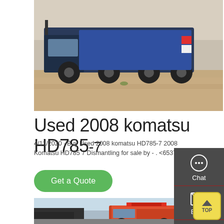[Figure (photo): Photo of a large blue/dark dump truck or hauler photographed from the side on sandy/dirt ground]
Used 2008 komatsu HD785-7
4/11/2020 · Buy Used 2008 komatsu HD785-7 2008 Komatsu HD785 7 Dismantling for sale by - . <653741>
Get a Quote
[Figure (photo): Photo of an orange SINOTRUK/CNHTC truck carrying heavy equipment (excavators) on a transporter, parked near trees]